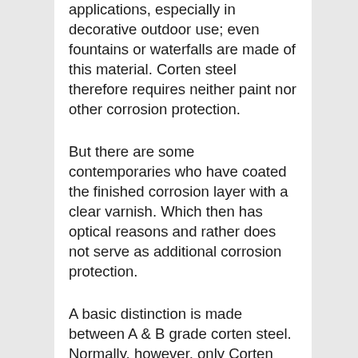applications, especially in decorative outdoor use; even fountains or waterfalls are made of this material. Corten steel therefore requires neither paint nor other corrosion protection.
But there are some contemporaries who have coated the finished corrosion layer with a clear varnish. Which then has optical reasons and rather does not serve as additional corrosion protection.
A basic distinction is made between A & B grade corten steel. Normally, however, only Corten steel B is of importance to us, as it is easy to weld